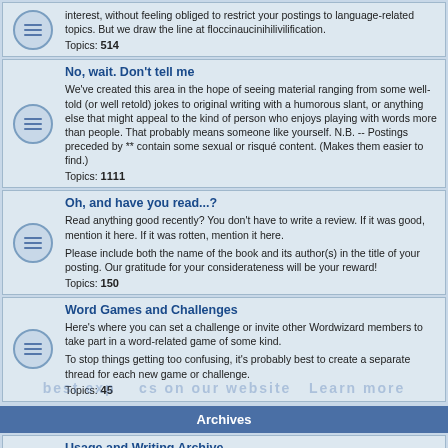interest, without feeling obliged to restrict your postings to language-related topics. But we draw the line at floccinaucinihilivilification.
Topics: 514
No, wait. Don't tell me
We've created this area in the hope of seeing material ranging from some well-told (or well retold) jokes to original writing with a humorous slant, or anything else that might appeal to the kind of person who enjoys playing with words more than people. That probably means someone like yourself. N.B. -- Postings preceded by ** contain some sexual or risqué content. (Makes them easier to find.)
Topics: 1111
Oh, and have you read...?
Read anything good recently? You don't have to write a review. If it was good, mention it here. If it was rotten, mention it here.

Please include both the name of the book and its author(s) in the title of your posting. Our gratitude for your considerateness will be your reward!
Topics: 150
Word Games and Challenges
Here's where you can set a challenge or invite other Wordwizard members to take part in a word-related game of some kind.

To stop things getting too confusing, it's probably best to create a separate thread for each new game or challenge.
Topics: 45
Archives
Usage and Writing Archive
This formerly read-only archive of threads dates back to 1996, but as of March 2007 is open to new postings. For technical reasons, the early dates shown do not accurately reflect the actual date of posting.